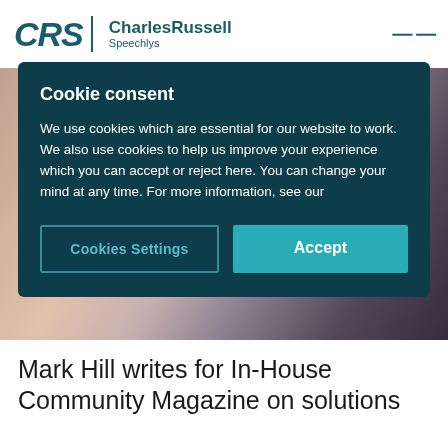CRS | CharlesRussell
[Figure (screenshot): Blurred background photo of a person with camera equipment]
Cookie consent
We use cookies which are essential for our website to work. We also use cookies to help us improve your experience which you can accept or reject here. You can change your mind at any time. For more information, see our
Cookies Settings | Accept
Mark Hill writes for In-House Community Magazine on solutions